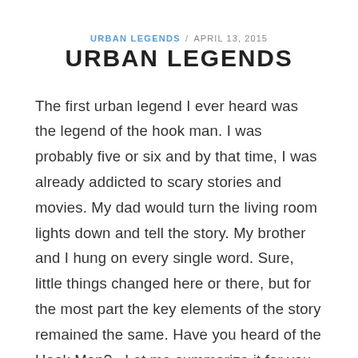URBAN LEGENDS / APRIL 13, 2015
URBAN LEGENDS
The first urban legend I ever heard was the legend of the hook man. I was probably five or six and by that time, I was already addicted to scary stories and movies. My dad would turn the living room lights down and tell the story. My brother and I hung on every single word. Sure, little things changed here or there, but for the most part the key elements of the story remained the same. Have you heard of the Hook Man?   Let me summarize it for you. A young couple out on a date is parked at a lover's lane, kissing in a car. They've been interupted